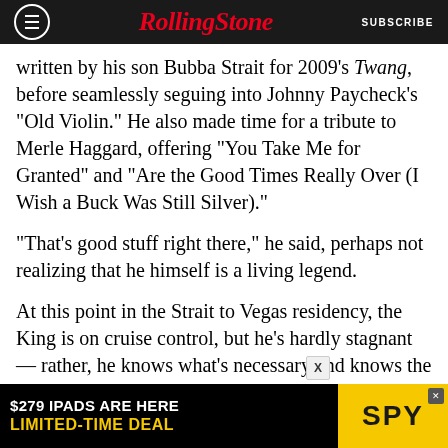RollingStone | SUBSCRIBE
written by his son Bubba Strait for 2009's Twang, before seamlessly seguing into Johnny Paycheck's "Old Violin." He also made time for a tribute to Merle Haggard, offering "You Take Me for Granted" and "Are the Good Times Really Over (I Wish a Buck Was Still Silver)."
“That’s good stuff right there,” he said, perhaps not realizing that he himself is a living legend.
At this point in the Strait to Vegas residency, the King is on cruise control, but he’s hardly stagnant — rather, he knows what’s necessary and knows the speed limit, but continues to push the boundaries. At 66, and with new music ahead of
[Figure (other): Advertisement banner: '$279 IPADS ARE HERE LIMITED-TIME DEAL' with SPY logo on yellow background]